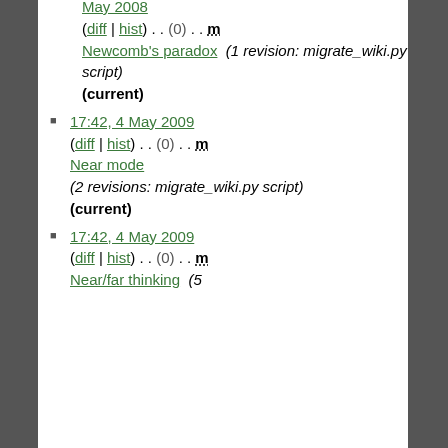(diff | hist) . . (0) . . m Newcomb's paradox (1 revision: migrate_wiki.py script) (current)
17:42, 4 May 2009 (diff | hist) . . (0) . . m Near mode (2 revisions: migrate_wiki.py script) (current)
17:42, 4 May 2009 (diff | hist) . . (0) . . m Near/far thinking (5